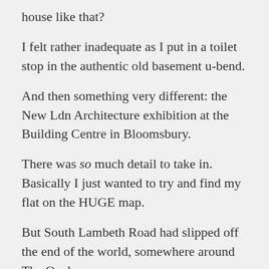house like that?
I felt rather inadequate as I put in a toilet stop in the authentic old basement u-bend.
And then something very different: the New Ldn Architecture exhibition at the Building Centre in Bloomsbury.
There was so much detail to take in. Basically I just wanted to try and find my flat on the HUGE map.
But South Lambeth Road had slipped off the end of the world, somewhere around The Oval.
I hunted for around 15 minutes to try